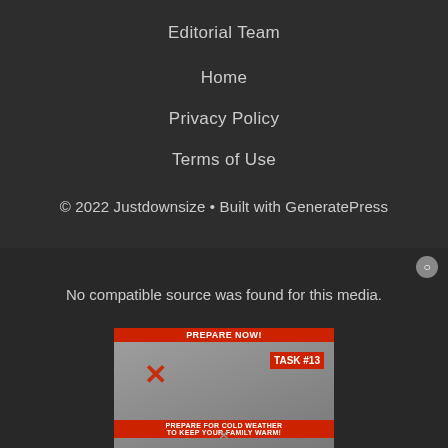Editorial Team
Home
Privacy Policy
Terms of Use
© 2022 Justdownsize • Built with GeneratePress
[Figure (screenshot): Media player overlay showing 'No compatible source was found for this media' message, with a thumbnail of a video titled 'TASK #13 - PREPARE FOR COLD WEATHER TO KEEP YOUR FAMILY WARM!' with a red banner and X mark overlay.]